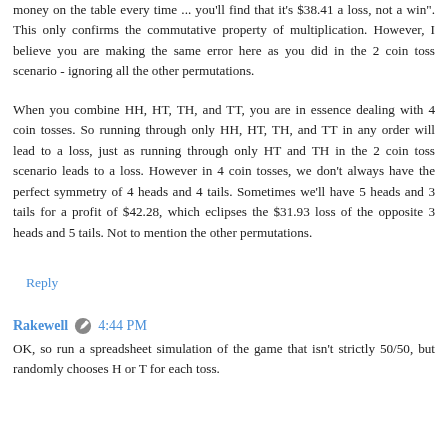money on the table every time ... you'll find that it's $38.41 a loss, not a win". This only confirms the commutative property of multiplication. However, I believe you are making the same error here as you did in the 2 coin toss scenario - ignoring all the other permutations.
When you combine HH, HT, TH, and TT, you are in essence dealing with 4 coin tosses. So running through only HH, HT, TH, and TT in any order will lead to a loss, just as running through only HT and TH in the 2 coin toss scenario leads to a loss. However in 4 coin tosses, we don't always have the perfect symmetry of 4 heads and 4 tails. Sometimes we'll have 5 heads and 3 tails for a profit of $42.28, which eclipses the $31.93 loss of the opposite 3 heads and 5 tails. Not to mention the other permutations.
Reply
Rakewell  4:44 PM
OK, so run a spreadsheet simulation of the game that isn't strictly 50/50, but randomly chooses H or T for each toss.